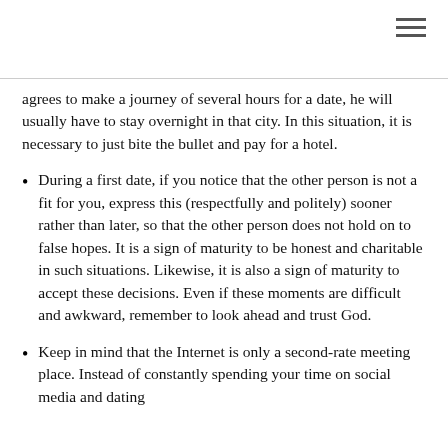agrees to make a journey of several hours for a date, he will usually have to stay overnight in that city. In this situation, it is necessary to just bite the bullet and pay for a hotel.
During a first date, if you notice that the other person is not a fit for you, express this (respectfully and politely) sooner rather than later, so that the other person does not hold on to false hopes. It is a sign of maturity to be honest and charitable in such situations. Likewise, it is also a sign of maturity to accept these decisions. Even if these moments are difficult and awkward, remember to look ahead and trust God.
Keep in mind that the Internet is only a second-rate meeting place. Instead of constantly spending your time on social media and dating